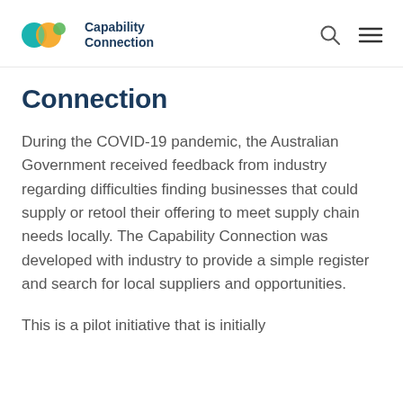Capability Connection
Connection
During the COVID-19 pandemic, the Australian Government received feedback from industry regarding difficulties finding businesses that could supply or retool their offering to meet supply chain needs locally. The Capability Connection was developed with industry to provide a simple register and search for local suppliers and opportunities.
This is a pilot initiative that is initially